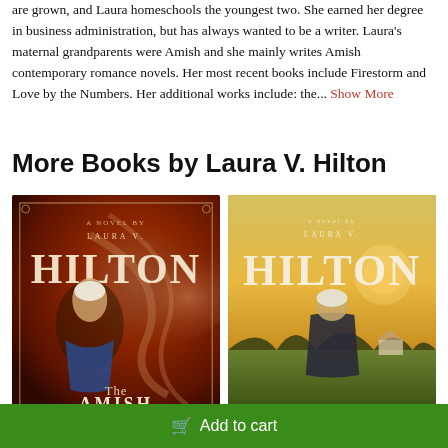are grown, and Laura homeschools the youngest two. She earned her degree in business administration, but has always wanted to be a writer. Laura's maternal grandparents were Amish and she mainly writes Amish contemporary romance novels. Her most recent books include Firestorm and Love by the Numbers. Her additional works include: the... Show More
More Books by Laura V. Hilton
[Figure (photo): Two book covers by Laura V. Hilton side by side. Left cover shows an Amish woman in blue dress against a brown/chocolate swirled background, titled 'The Amish...' Right cover shows an Amish woman from behind wearing a white kapp, looking at a rural landscape at golden hour.]
Add to cart